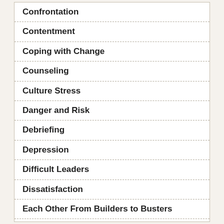Confrontation
Contentment
Coping with Change
Counseling
Culture Stress
Danger and Risk
Debriefing
Depression
Difficult Leaders
Dissatisfaction
Each Other From Builders to Busters
Expectations
Forgiveness
Generational Differences
Grief
Groupthink
Guilt
Happiness, Comparison and Envy